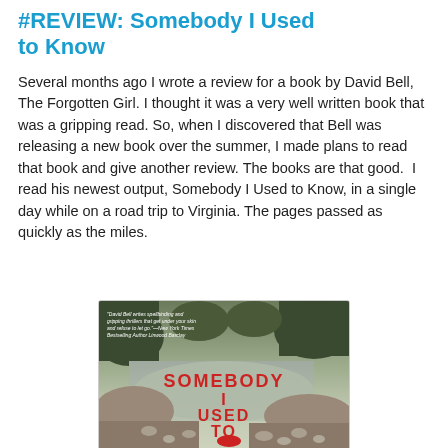#REVIEW: Somebody I Used to Know
Several months ago I wrote a review for a book by David Bell, The Forgotten Girl. I thought it was a very well written book that was a gripping read. So, when I discovered that Bell was releasing a new book over the summer, I made plans to read that book and give another review. The books are that good.  I read his newest output, Somebody I Used to Know, in a single day while on a road trip to Virginia. The pages passed as quickly as the miles.
[Figure (photo): Book cover of 'Somebody I Used to Know' by David Bell, showing a river or stream scene with rocky shore, trees, and a red object. Title text in red/white letters. Blurb at top: 'David Bell writes spellbinding and gripping thrillers that get under your skin and refuse to let go.' —New York Times Bestselling Author Linwood Barclay]